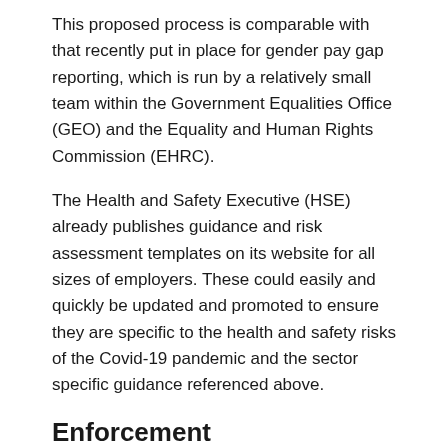This proposed process is comparable with that recently put in place for gender pay gap reporting, which is run by a relatively small team within the Government Equalities Office (GEO) and the Equality and Human Rights Commission (EHRC).
The Health and Safety Executive (HSE) already publishes guidance and risk assessment templates on its website for all sizes of employers. These could easily and quickly be updated and promoted to ensure they are specific to the health and safety risks of the Covid-19 pandemic and the sector specific guidance referenced above.
Enforcement
Proactive enforcement of these requirements must be a priority.